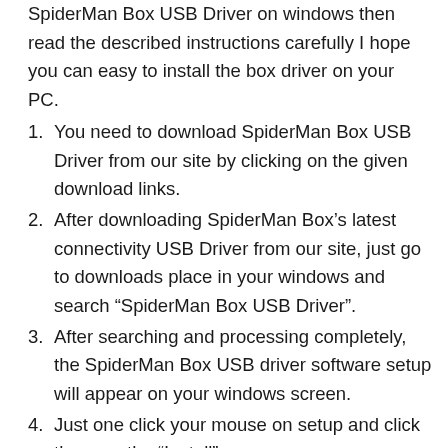SpiderMan Box USB Driver on windows then read the described instructions carefully I hope you can easy to install the box driver on your PC.
You need to download SpiderMan Box USB Driver from our site by clicking on the given download links.
After downloading SpiderMan Box’s latest connectivity USB Driver from our site, just go to downloads place in your windows and search “SpiderMan Box USB Driver”.
After searching and processing completely, the SpiderMan Box USB driver software setup will appear on your windows screen.
Just one click your mouse on setup and click there on the “Install”.